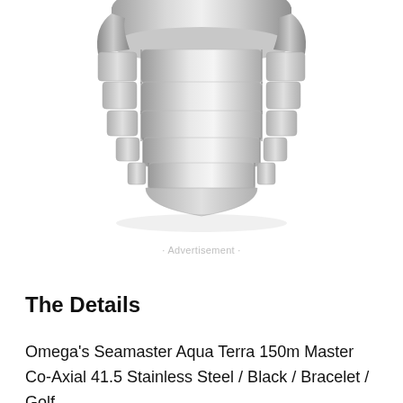[Figure (photo): Bottom portion of an Omega Seamaster watch showing the stainless steel bracelet and lower case, photographed against a white background.]
· Advertisement ·
The Details
Omega's Seamaster Aqua Terra 150m Master Co-Axial 41.5 Stainless Steel / Black / Bracelet / Golf